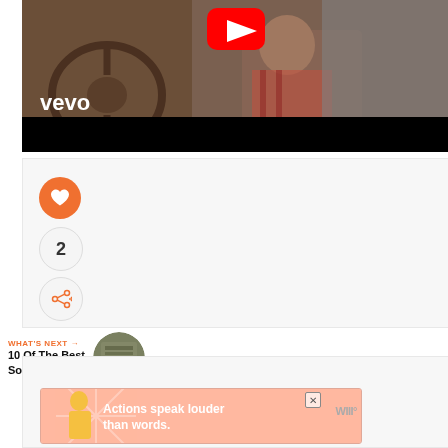[Figure (screenshot): YouTube/Vevo video thumbnail showing a man in a vehicle with warm brown tones, YouTube play button at top, 'vevo' branding in white text, black letterbox bar at bottom]
[Figure (screenshot): Social media card area with orange heart/like button, like count of 2, and share button on sidebar]
2
WHAT'S NEXT → 10 Of The Best Songs Abou...
[Figure (screenshot): Advertisement banner: 'Actions speak louder than words.' with illustrated person in yellow shirt, pink/coral background with starburst design, close button X, and WM logo]
[Figure (screenshot): What's Next thumbnail - circular album art with green/brown tones]